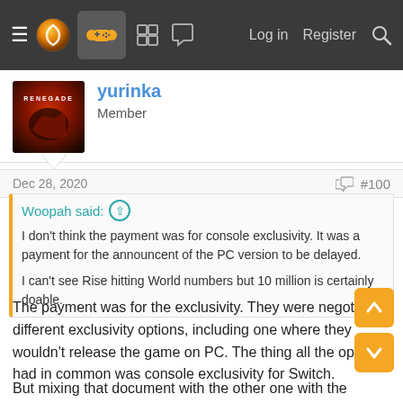≡  [logo]  [controller icon]  [grid icon]  [chat icon]  Log in  Register  [search]
[Figure (screenshot): User avatar for yurinka showing a dark red illustrated album-style cover with text RENEGADE]
yurinka
Member
Dec 28, 2020
#100
Woopah said: ↑
I don't think the payment was for console exclusivity. It was a payment for the announcent of the PC version to be delayed.

I can't see Rise hitting World numbers but 10 million is certainly doable.
The payment was for the exclusivity. They were negotiating different exclusivity options, including one where they wouldn't release the game on PC. The thing all the options had in common was console exclusivity for Switch.
But mixing that document with the other one with the Capcom titles line-up roadmap for the next 4-5 years, seems that the